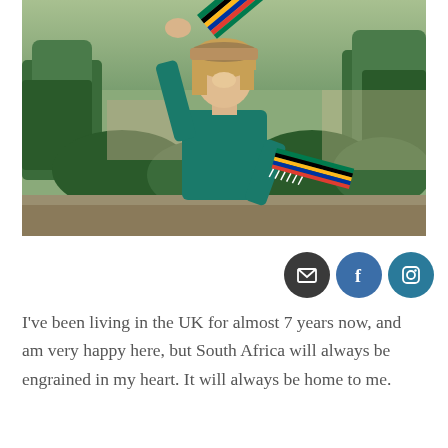[Figure (photo): Young woman wearing a teal green top and cap, holding up a South African flag scarf with one arm raised, standing in a garden with green hedges and trees in the background.]
I've been living in the UK for almost 7 years now, and am very happy here, but South Africa will always be engrained in my heart. It will always be home to me.